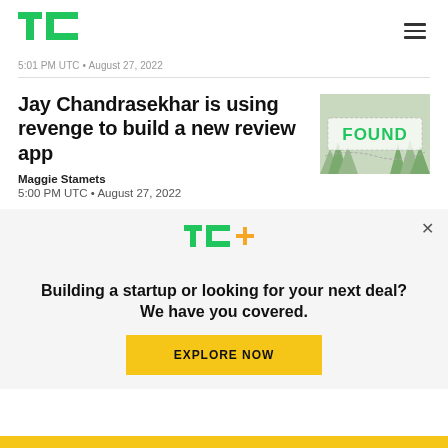TechCrunch logo and navigation
5:01 PM UTC • August 27, 2022
Jay Chandrasekhar is using revenge to build a new review app
Maggie Stamets
5:00 PM UTC • August 27, 2022
[Figure (illustration): Thumbnail image with the word FOUND in green text on a light illustrated background with trees]
Building a startup or looking for your next deal? We have you covered.
EXPLORE NOW